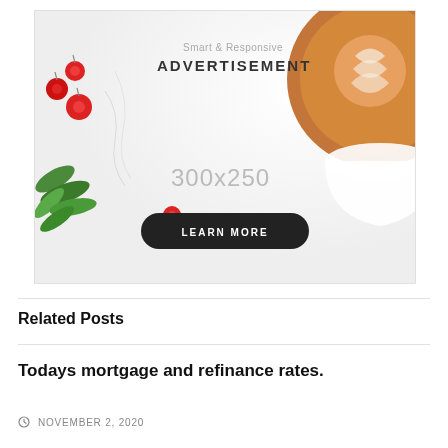[Figure (illustration): Smart & Responsive ADVERTISEMENT banner with a coffee cup latte art on the right, red berries and green leaves on the left, '300x250' size label, and a dark 'LEARN MORE' button.]
Related Posts
Todays mortgage and refinance rates.
NOVEMBER 2, 2020